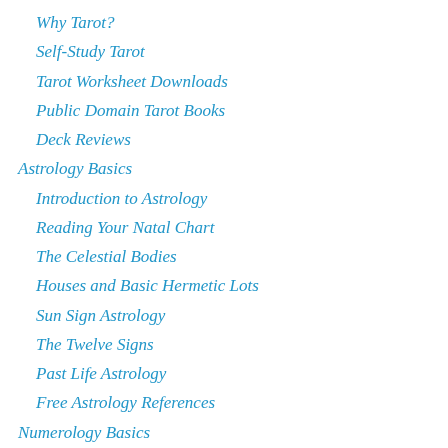Why Tarot?
Self-Study Tarot
Tarot Worksheet Downloads
Public Domain Tarot Books
Deck Reviews
Astrology Basics
Introduction to Astrology
Reading Your Natal Chart
The Celestial Bodies
Houses and Basic Hermetic Lots
Sun Sign Astrology
The Twelve Signs
Past Life Astrology
Free Astrology References
Numerology Basics
My Methodology
Life Path Number
Decisive Age
Name Analysis
Life Path Compatibility